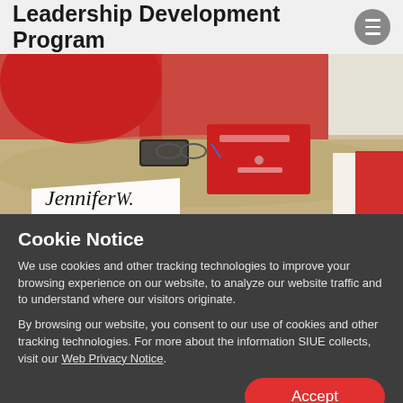Leadership Development Program
[Figure (photo): People in red shirts seated at a round table with a name tent reading 'Jennifer W.' and red folders on the table]
Cookie Notice
We use cookies and other tracking technologies to improve your browsing experience on our website, to analyze our website traffic and to understand where our visitors originate.
By browsing our website, you consent to our use of cookies and other tracking technologies. For more about the information SIUE collects, visit our Web Privacy Notice.